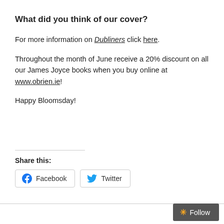What did you think of our cover?
For more information on Dubliners click here.
Throughout the month of June receive a 20% discount on all our James Joyce books when you buy online at www.obrien.ie!
Happy Bloomsday!
Share this:
Facebook  Twitter